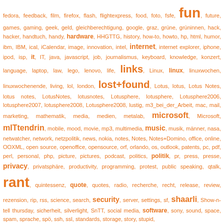[Figure (other): Tag cloud with words in varying sizes and shades of orange/red, representing frequency of tags on a blog or website. Larger words appear more frequently. Words include: fun, links, lost+found, microsoft, mITtendrin, music, rant, shaarli, privacy, security, software, internet, and many others in smaller sizes.]